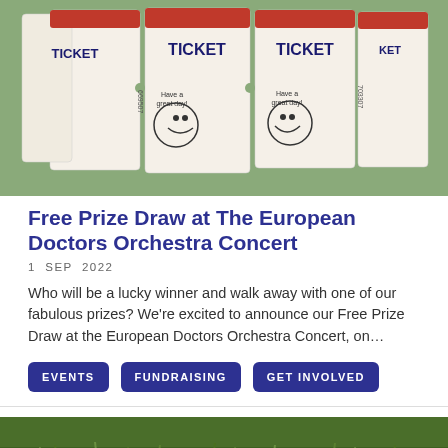[Figure (photo): A roll of raffle tickets fanned out showing 'TICKET' text and smiley face 'Have a great day!' printed on them, on a green background.]
Free Prize Draw at The European Doctors Orchestra Concert
1 SEP 2022
Who will be a lucky winner and walk away with one of our fabulous prizes? We're excited to announce our Free Prize Draw at the European Doctors Orchestra Concert, on...
EVENTS
FUNDRAISING
GET INVOLVED
[Figure (photo): A natural outdoor scene with green grass and vegetation.]